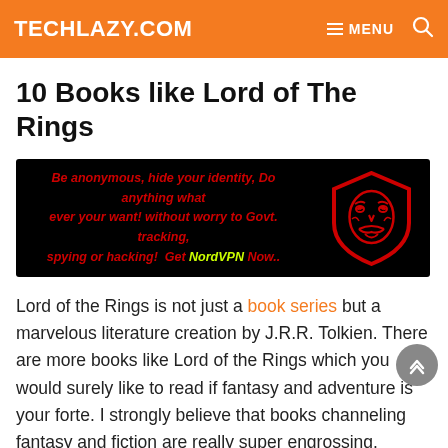TECHLAZY.COM   ☰ MENU   🔍
10 Books like Lord of The Rings
[Figure (illustration): Dark advertisement banner with red italic text: 'Be anonymous, hide your identity, Do anything what ever your want! without worry to Govt. tracking, spying or hacking! Get NordVPN Now..' with a red Guy Fawkes mask graphic on the right]
Lord of the Rings is not just a book series but a marvelous literature creation by J.R.R. Tolkien. There are more books like Lord of the Rings which you would surely like to read if fantasy and adventure is your forte. I strongly believe that books channeling fantasy and fiction are really super engrossing.
10 Books like Lord of The